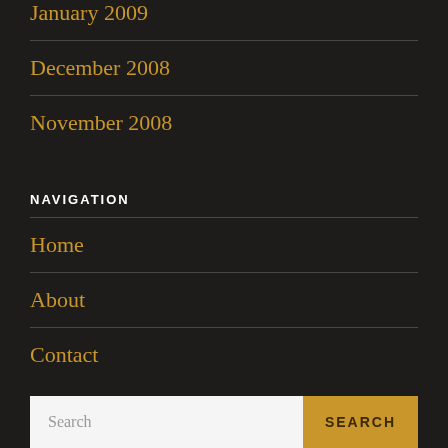January 2009
December 2008
November 2008
NAVIGATION
Home
About
Contact
Search